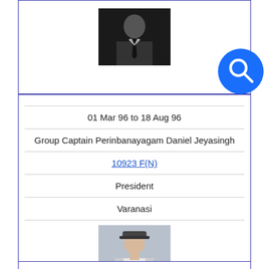[Figure (photo): Black and white photo of a person in a suit and tie]
01 Mar 96 to 18 Aug 96
Group Captain Perinbanayagam Daniel Jeyasingh
10923 F(N)
President
Varanasi
[Figure (photo): Color photo of a person in military dress uniform with cap and medals]
19 Aug 96 to 01 Aug 98
Air Commodore Perinbanayagam Daniel Jeyasingh